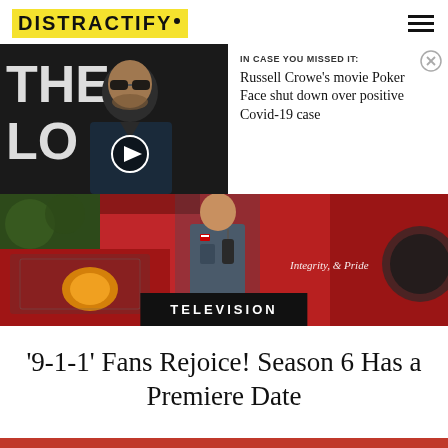DISTRACTIFY
[Figure (photo): Russell Crowe in dark jacket with sunglasses at a movie premiere, background shows large white text 'THE LO...']
IN CASE YOU MISSED IT: Russell Crowe’s movie Poker Face shut down over positive Covid-19 case
[Figure (photo): Firefighter in blue uniform standing in front of a red fire truck with text 'Integrity & Pride' visible]
TELEVISION
'9-1-1' Fans Rejoice! Season 6 Has a Premiere Date